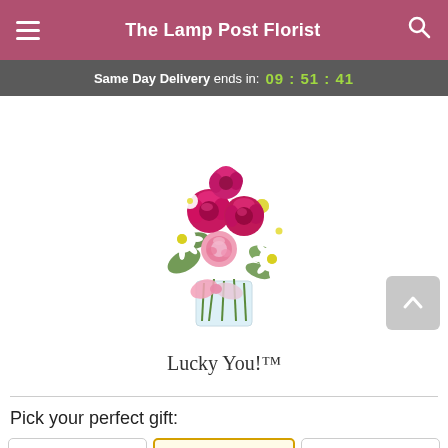The Lamp Post Florist
Same Day Delivery ends in: 09 : 51 : 41
[Figure (photo): Flower bouquet arrangement in a glass vase featuring pink roses, white daisies, pink carnation, and green foliage with a pink patterned ribbon bow]
Lucky You!™
Pick your perfect gift: